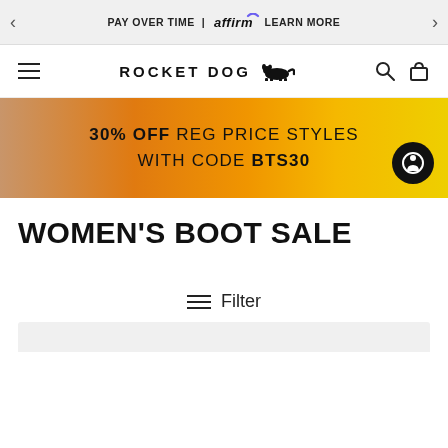PAY OVER TIME | affirm LEARN MORE
[Figure (logo): Rocket Dog brand logo with dog silhouette icon, navigation hamburger menu, search and bag icons]
[Figure (infographic): Orange gradient promotional banner: 30% OFF REG PRICE STYLES WITH CODE BTS30, with accessibility button]
WOMEN'S BOOT SALE
Filter